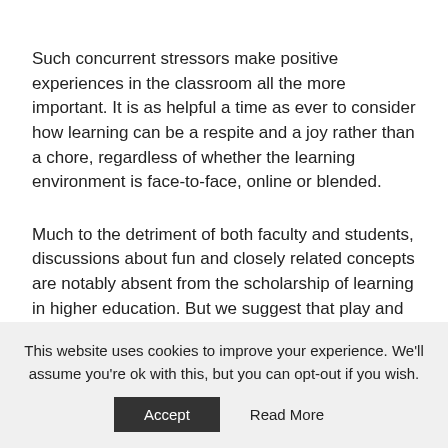Such concurrent stressors make positive experiences in the classroom all the more important. It is as helpful a time as ever to consider how learning can be a respite and a joy rather than a chore, regardless of whether the learning environment is face-to-face, online or blended.
Much to the detriment of both faculty and students, discussions about fun and closely related concepts are notably absent from the scholarship of learning in higher education. But we suggest that play and fun have a rightful and important role in in the
This website uses cookies to improve your experience. We'll assume you're ok with this, but you can opt-out if you wish.
Accept   Read More